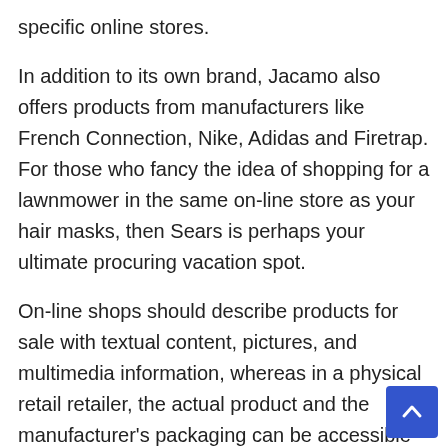specific online stores.
In addition to its own brand, Jacamo also offers products from manufacturers like French Connection, Nike, Adidas and Firetrap. For those who fancy the idea of shopping for a lawnmower in the same on-line store as your hair masks, then Sears is perhaps your ultimate procuring vacation spot.
On-line shops should describe products for sale with textual content, pictures, and multimedia information, whereas in a physical retail retailer, the actual product and the manufacturer's packaging can be accessible for direct inspection (which could involve a check drive, fitting, or other experimentation).